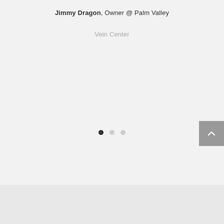Jimmy Dragon, Owner @ Palm Valley
Vein Center
[Figure (other): Three pagination dots: first dot filled dark, second and third dots light gray]
[Figure (other): Scroll to top button with upward chevron arrow, gray background, bottom right corner]